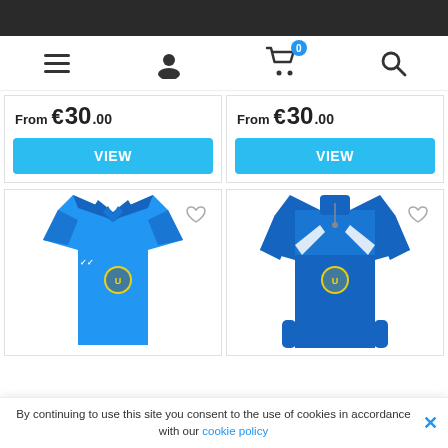Navigation bar with hamburger menu, user icon, cart (0), and search icon
From €30.00
From €30.00
[Figure (photo): Blue Umbro polo shirt with club badge]
[Figure (photo): Blue Umbro quarter-zip sweatshirt with club badge and white stripe detail]
By continuing to use this site you consent to the use of cookies in accordance with our cookie policy